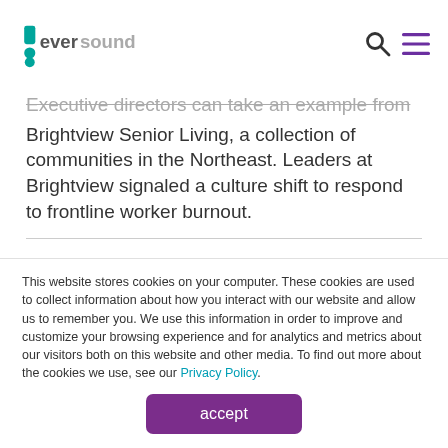Eversound [logo] [search icon] [menu icon]
Executive directors can take an example from Brightview Senior Living, a collection of communities in the Northeast. Leaders at Brightview signaled a culture shift to respond to frontline worker burnout.
The communities began optional staff
This website stores cookies on your computer. These cookies are used to collect information about how you interact with our website and allow us to remember you. We use this information in order to improve and customize your browsing experience and for analytics and metrics about our visitors both on this website and other media. To find out more about the cookies we use, see our Privacy Policy.
accept